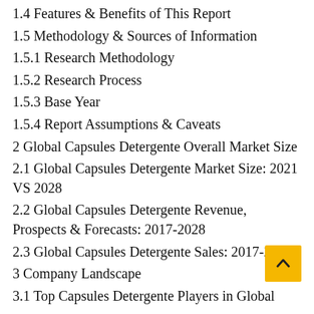1.4 Features & Benefits of This Report
1.5 Methodology & Sources of Information
1.5.1 Research Methodology
1.5.2 Research Process
1.5.3 Base Year
1.5.4 Report Assumptions & Caveats
2 Global Capsules Detergente Overall Market Size
2.1 Global Capsules Detergente Market Size: 2021 VS 2028
2.2 Global Capsules Detergente Revenue, Prospects & Forecasts: 2017-2028
2.3 Global Capsules Detergente Sales: 2017-2028
3 Company Landscape
3.1 Top Capsules Detergente Players in Global